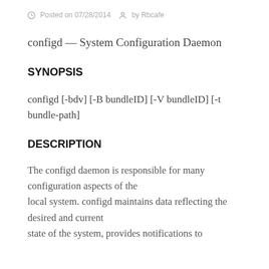Posted on 07/28/2014  by Rbcafe
configd — System Configuration Daemon
SYNOPSIS
configd [-bdv] [-B bundleID] [-V bundleID] [-t bundle-path]
DESCRIPTION
The configd daemon is responsible for many configuration aspects of the local system. configd maintains data reflecting the desired and current state of the system, provides notifications to